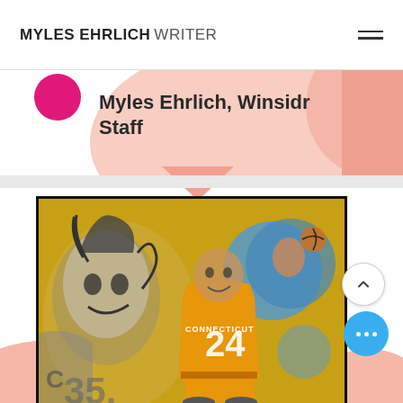MYLES EHRLICH WRITER
Myles Ehrlich, Winsidr Staff
[Figure (photo): Illustrated artwork showing Connecticut Sun WNBA basketball players in orange/yellow uniforms on a golden background. Player #24 is prominently featured in the center. A large player's face is on the left side and another player is on the right.]